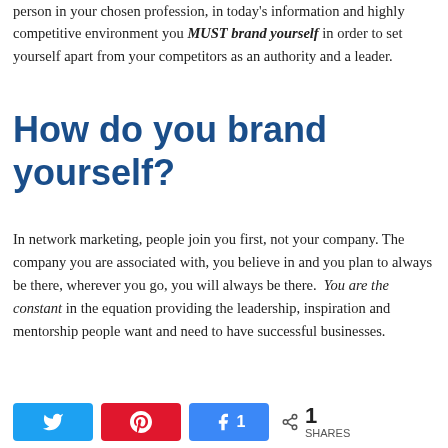person in your chosen profession, in today's information and highly competitive environment you MUST brand yourself in order to set yourself apart from your competitors as an authority and a leader.
How do you brand yourself?
In network marketing, people join you first, not your company. The company you are associated with, you believe in and you plan to always be there, wherever you go, you will always be there.  You are the constant in the equation providing the leadership, inspiration and mentorship people want and need to have successful businesses.
As a career professional in finance, accounting,
Twitter  Pinterest  Share 1  SHARES